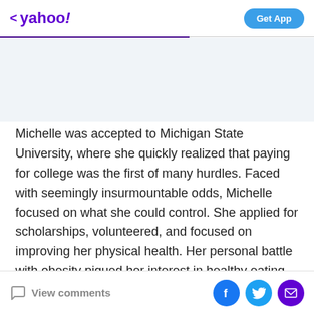< yahoo!   Get App
[Figure (photo): Light blue-gray image placeholder area below the Yahoo header]
Michelle was accepted to Michigan State University, where she quickly realized that paying for college was the first of many hurdles. Faced with seemingly insurmountable odds, Michelle focused on what she could control. She applied for scholarships, volunteered, and focused on improving her physical health. Her personal battle with obesity piqued her interest in healthy eating and exercise.
View comments  [Facebook] [Twitter] [Mail]